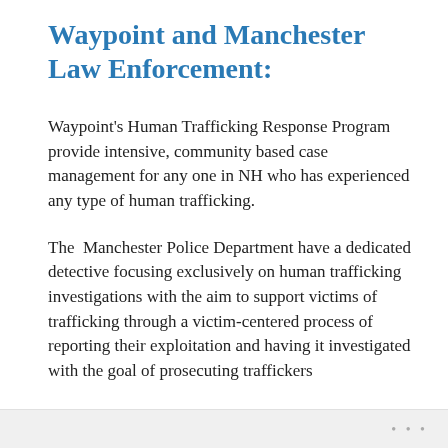Waypoint and Manchester Law Enforcement:
Waypoint's Human Trafficking Response Program provide intensive, community based case management for any one in NH who has experienced any type of human trafficking.
The  Manchester Police Department have a dedicated detective focusing exclusively on human trafficking investigations with the aim to support victims of trafficking through a victim-centered process of reporting their exploitation and having it investigated with the goal of prosecuting traffickers
Waypoint and MPD partner with each other and
...